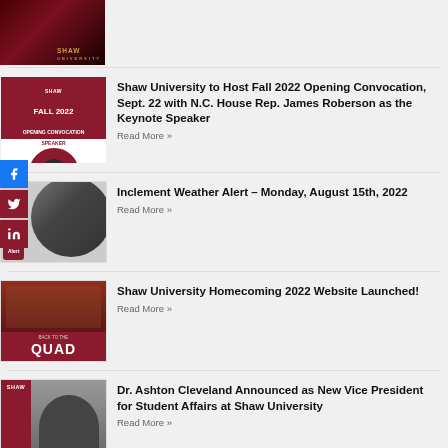[Figure (photo): Shaw University logo/branding image - dark red gradient background with Shaw text]
[Figure (photo): Shaw University Fall 2022 Opening Convocation announcement with speaker portrait in circular frame]
Shaw University to Host Fall 2022 Opening Convocation, Sept. 22 with N.C. House Rep. James Roberson as the Keynote Speaker
Read More »
[Figure (photo): Inclement weather alert image showing storm/hurricane image with red overlay]
Inclement Weather Alert – Monday, August 15th, 2022
Read More »
[Figure (photo): Shaw University Homecoming 2022 - Back to the Quad event photo with crowd]
Shaw University Homecoming 2022 Website Launched!
Read More »
[Figure (photo): Dr. Ashton Cleveland portrait photo against Shaw University red background]
Dr. Ashton Cleveland Announced as New Vice President for Student Affairs at Shaw University
Read More »